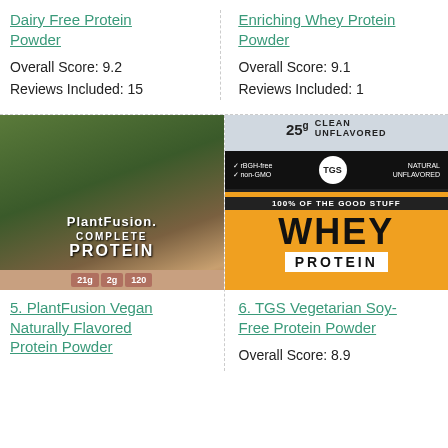Dairy Free Protein Powder
Overall Score: 9.2
Reviews Included: 15
Enriching Whey Protein Powder
Overall Score: 9.1
Reviews Included: 1
[Figure (photo): PlantFusion Complete Protein chocolate flavor container with plant imagery]
5. PlantFusion Vegan Naturally Flavored Protein Powder
[Figure (photo): TGS Whey Protein bag in orange/black/white with 25g clean unflavored branding]
6. TGS Vegetarian Soy-Free Protein Powder
Overall Score: 8.9